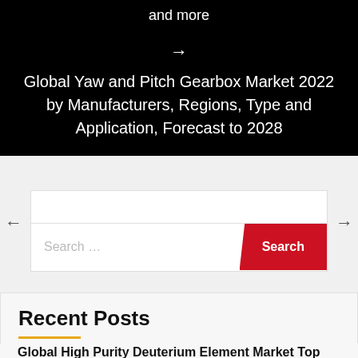and more
Global Yaw and Pitch Gearbox Market 2022 by Manufacturers, Regions, Type and Application, Forecast to 2028
[Figure (screenshot): Navigation arrows (left and right) and a search bar with red Search button]
Recent Posts
Global High Purity Deuterium Element Market Top